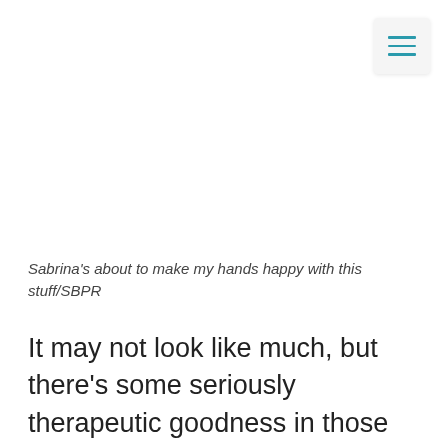[Figure (other): Hamburger menu icon with three teal horizontal lines on a light gray rounded square background, positioned in top-right corner]
Sabrina's about to make my hands happy with this stuff/SBPR
It may not look like much, but there's some seriously therapeutic goodness in those little tubs. Best of all, that goodness is also all-natural and very local. I'm referring particularly